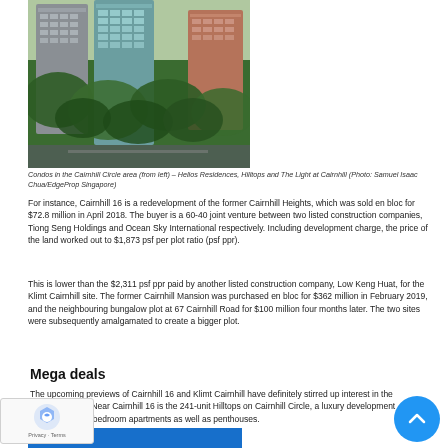[Figure (photo): Aerial photo of condos in the Cairnhill Circle area showing tall residential towers amid green trees]
Condos in the Cairnhill Circle area (from left) – Helios Residences, Hilltops and The Light at Cairnhill (Photo: Samuel Isaac Chua/EdgeProp Singapore)
For instance, Cairnhill 16 is a redevelopment of the former Cairnhill Heights, which was sold en bloc for $72.8 million in April 2018. The buyer is a 60-40 joint venture between two listed construction companies, Tiong Seng Holdings and Ocean Sky International respectively. Including development charge, the price of the land worked out to $1,873 psf per plot ratio (psf ppr).
This is lower than the $2,311 psf ppr paid by another listed construction company, Low Keng Huat, for the Klimt Cairnhill site. The former Cairnhill Mansion was purchased en bloc for $362 million in February 2019, and the neighbouring bungalow plot at 67 Cairnhill Road for $100 million four months later. The two sites were subsequently amalgamated to create a bigger plot.
Mega deals
The upcoming previews of Cairnhill 16 and Klimt Cairnhill have definitely stirred up interest in the neighbourhood. Near Cairnhill 16 is the 241-unit Hilltops on Cairnhill Circle, a luxury development with four- to five-bedroom apartments as well as penthouses.
[Figure (photo): Bottom portion of another photo visible at the very bottom of the page, appears to be a blue building exterior]